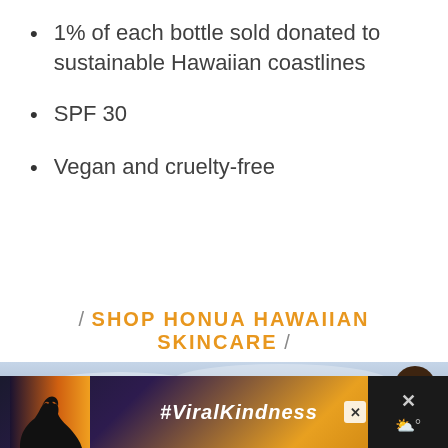1% of each bottle sold donated to sustainable Hawaiian coastlines
SPF 30
Vegan and cruelty-free
/ SHOP HONUA HAWAIIAN SKINCARE /
[Figure (photo): Cloudy sky scenic photo, partial view with social sharing UI overlay (heart button, count '4', share button)]
[Figure (photo): Advertisement banner showing silhouette of hands forming heart shape, text #ViralKindness, with close button and weather widget]